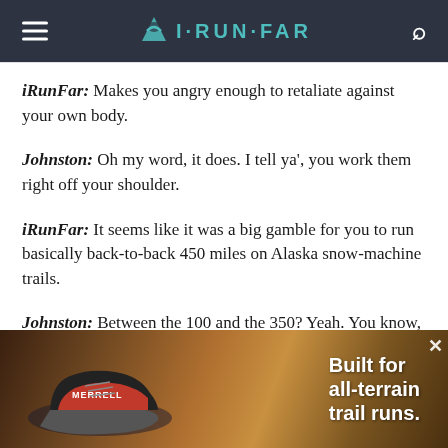iRunFar
iRunFar: Makes you angry enough to retaliate against your own body.
Johnston: Oh my word, it does. I tell ya', you work them right off your shoulder.
iRunFar: It seems like it was a big gamble for you to run basically back-to-back 450 miles on Alaska snow-machine trails.
Johnston: Between the 100 and the 350? Yeah. You know, I had done the Susitna and the 350 back-to-back and I actually raced
[Figure (photo): Merrell trail running shoe advertisement with text: Built for all-terrain trail runs.]